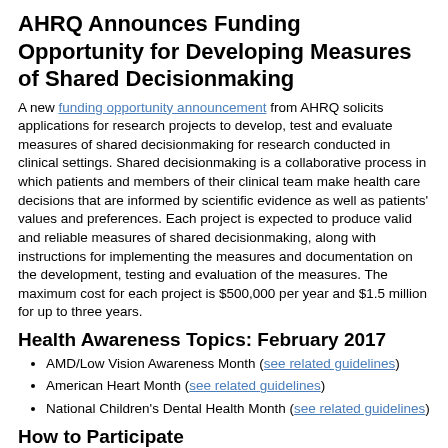AHRQ Announces Funding Opportunity for Developing Measures of Shared Decisionmaking
A new funding opportunity announcement from AHRQ solicits applications for research projects to develop, test and evaluate measures of shared decisionmaking for research conducted in clinical settings. Shared decisionmaking is a collaborative process in which patients and members of their clinical team make health care decisions that are informed by scientific evidence as well as patients' values and preferences. Each project is expected to produce valid and reliable measures of shared decisionmaking, along with instructions for implementing the measures and documentation on the development, testing and evaluation of the measures. The maximum cost for each project is $500,000 per year and $1.5 million for up to three years.
Health Awareness Topics: February 2017
AMD/Low Vision Awareness Month (see related guidelines)
American Heart Month (see related guidelines)
National Children's Dental Health Month (see related guidelines)
How to Participate
Submit Guidelines: Visit our Submit Guidelines page for information on how to submit your organization's guidelines.
Suggest a Guideline for Possible Inclusion: Submit your suggestions for evidence-based clinical practice guidelines that you would like to see